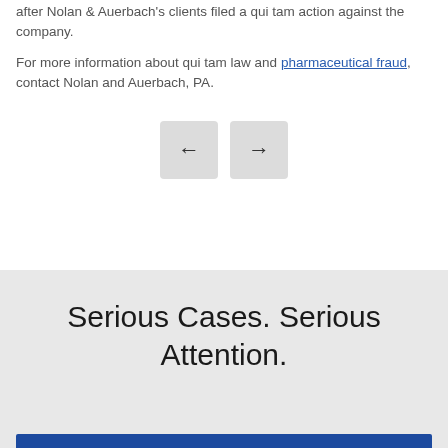after Nolan & Auerbach's clients filed a qui tam action against the company.
For more information about qui tam law and pharmaceutical fraud, contact Nolan and Auerbach, PA.
[Figure (other): Navigation buttons with left arrow and right arrow on grey square backgrounds]
Serious Cases. Serious Attention.